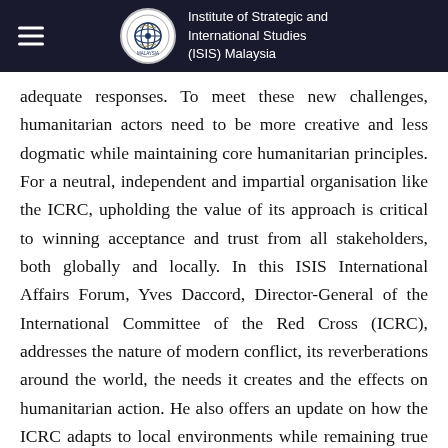Institute of Strategic and International Studies (ISIS) Malaysia
adequate responses. To meet these new challenges, humanitarian actors need to be more creative and less dogmatic while maintaining core humanitarian principles. For a neutral, independent and impartial organisation like the ICRC, upholding the value of its approach is critical to winning acceptance and trust from all stakeholders, both globally and locally. In this ISIS International Affairs Forum, Yves Daccord, Director-General of the International Committee of the Red Cross (ICRC), addresses the nature of modern conflict, its reverberations around the world, the needs it creates and the effects on humanitarian action. He also offers an update on how the ICRC adapts to local environments while remaining true to its principles.